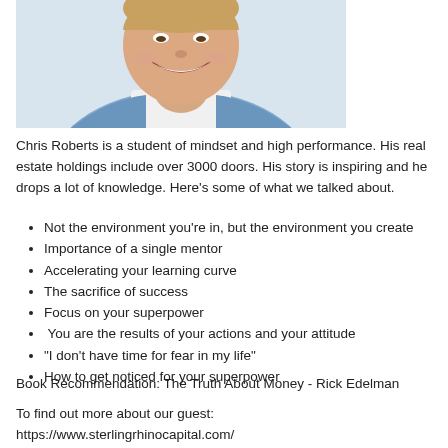[Figure (photo): Photo of a young smiling man in a blue plaid shirt, cropped at the lower face/torso, upper portion of image.]
Chris Roberts is a student of mindset and high performance. His real estate holdings include over 3000 doors. His story is inspiring and he drops a lot of knowledge. Here's some of what we talked about.
Not the environment you're in, but the environment you create
Importance of a single mentor
Accelerating your learning curve
The sacrifice of success
Focus on your superpower
You are the results of your actions and your attitude
“I don’t have time for fear in my life”
How to get noticed for your superpower
Book Recommendation: The Truth About Money - Rick Edelman
To find out more about our guest:
https://www.sterlingrhinocapital.com/